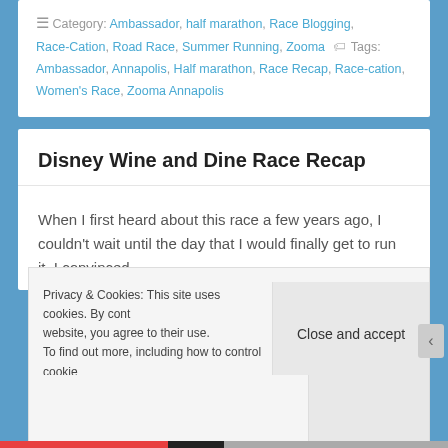Category: Ambassador, half marathon, Race Blogging, Race-Cation, Road Race, Summer Running, Zooma   Tags: Ambassador, Annapolis, Half marathon, Race Recap, Race-cation, Women's Race, Zooma Annapolis
Disney Wine and Dine Race Recap
When I first heard about this race a few years ago, I couldn't wait until the day that I would finally get to run it. I convinced
Privacy & Cookies: This site uses cookies. By cont... website, you agree to their use. To find out more, including how to control cookie...